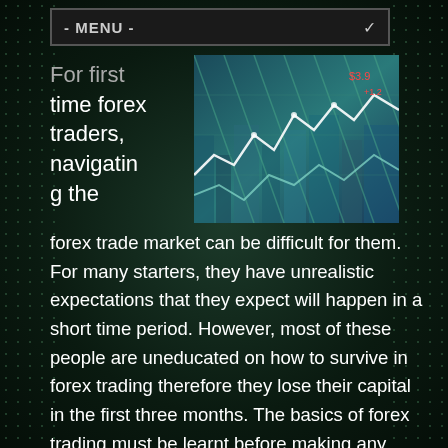- MENU -
[Figure (photo): Forex trading chart image showing financial market data with overlaid line graphs on a blue-green background]
For first time forex traders, navigating the forex trade market can be difficult for them. For many starters, they have unrealistic expectations that they expect will happen in a short time period. However, most of these people are uneducated on how to survive in forex trading therefore they lose their capital in the first three months. The basics of forex trading must be learnt before making any investment. You are now ready to trade with real money once you understand the fundamentals. Forex trading tips provided in this article will help a new forex trader. Trading activities need to be completed by a software that can be bought. For you to be successful in the forex industry that has tough competition, you need to have this free software. Researching the market to discover a highly rated package that is user friendly with a